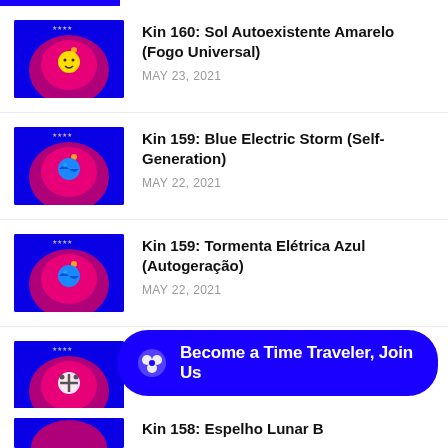[Figure (illustration): Blue background with pink/red radial glow and yellow face icon - Kin 160 thumbnail]
Kin 160: Sol Autoexistente Amarelo (Fogo Universal)
MAY 23, 2021
[Figure (illustration): Blue background with pink/red radial glow and blue earth-like icon - Kin 159 thumbnail]
Kin 159: Blue Electric Storm (Self-Generation)
MAY 22, 2021
[Figure (illustration): Blue background with pink/red radial glow and blue earth-like icon - Kin 159 thumbnail]
Kin 159: Tormenta Elétrica Azul (Autogeração)
MAY 22, 2021
[Figure (illustration): Blue background with pink/red radial glow and white cross/mirror icon - Kin 158 thumbnail]
Kin 158: White Lunar Mirror
Become a Time Traveler, Join Us
[Figure (illustration): Partial thumbnail visible at bottom - Kin 158 or next entry]